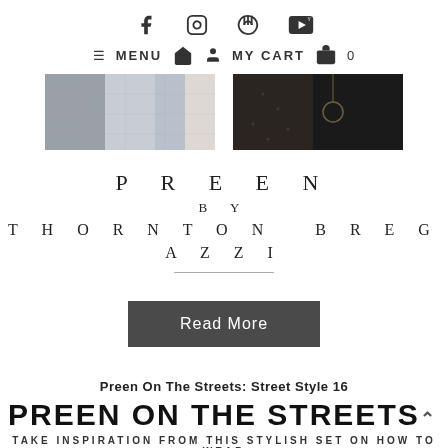Social media icons: Facebook, Instagram, Pinterest, YouTube
≡ MENU  🏠  👤  MY CART  🛍  0
[Figure (photo): Two fashion photos side by side: left shows patterned clothing items, right shows a dark outfit with necklace accessory]
PREEN BY THORNTON BREGAZZI
Read More
Preen On The Streets: Street Style 16
PREEN ON THE STREETS
TAKE INSPIRATION FROM THIS STYLISH SET ON HOW TO WEAR